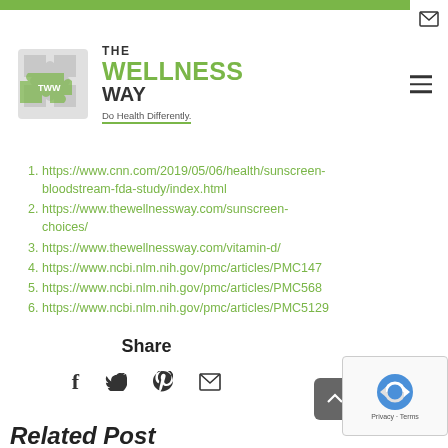[Figure (logo): The Wellness Way logo with puzzle piece icon and tagline 'Do Health Differently']
https://www.cnn.com/2019/05/06/health/sunscreen-bloodstream-fda-study/index.html
https://www.thewellnessway.com/sunscreen-choices/
https://www.thewellnessway.com/vitamin-d/
https://www.ncbi.nlm.nih.gov/pmc/articles/PMC147...
https://www.ncbi.nlm.nih.gov/pmc/articles/PMC568...
https://www.ncbi.nlm.nih.gov/pmc/articles/PMC5129...
Share
Related Posts